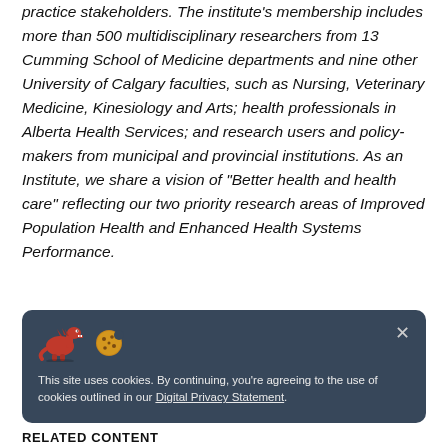practice stakeholders. The institute's membership includes more than 500 multidisciplinary researchers from 13 Cumming School of Medicine departments and nine other University of Calgary faculties, such as Nursing, Veterinary Medicine, Kinesiology and Arts; health professionals in Alberta Health Services; and research users and policy-makers from municipal and provincial institutions. As an Institute, we share a vision of "Better health and health care" reflecting our two priority research areas of Improved Population Health and Enhanced Health Systems Performance.
[Figure (other): Cookie consent banner with dark blue background, dinosaur and cookie emoji icons, close button (×), and text: This site uses cookies. By continuing, you're agreeing to the use of cookies outlined in our Digital Privacy Statement.]
RELATED CONTENT